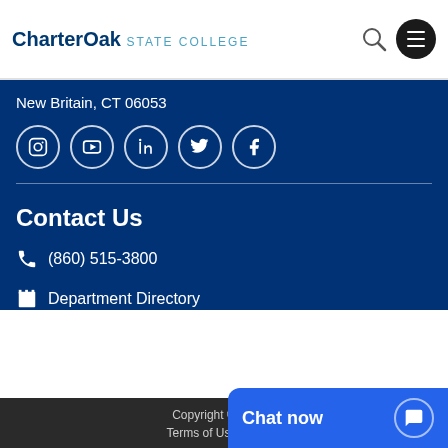CharterOak STATE COLLEGE
New Britain, CT 06053
[Figure (illustration): Social media icons in circles: Instagram, YouTube, LinkedIn, Twitter, Facebook]
Contact Us
(860) 515-3800
Department Directory
Copyright © 1973  |  Terms of Use  |  We...
[Figure (illustration): Blue chat widget with 'Chat now' text and speech bubble icon]